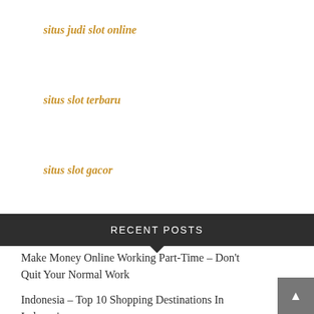situs judi slot online
situs slot terbaru
situs slot gacor
RECENT POSTS
Make Money Online Working Part-Time – Don't Quit Your Normal Work
Indonesia – Top 10 Shopping Destinations In Indonesia